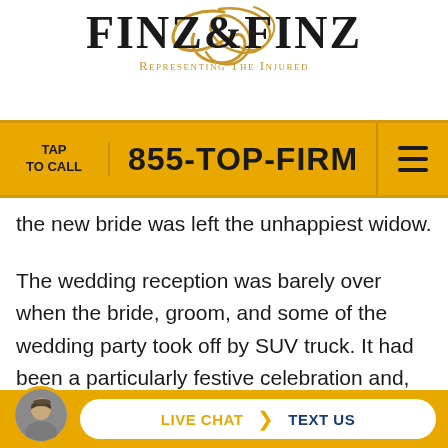[Figure (logo): Finz & Finz law firm logo with golden script F overlay and tagline 'Representing The Injured']
TAP TO CALL | 855-TOP-FIRM | Menu
the new bride was left the unhappiest widow.
The wedding reception was barely over when the bride, groom, and some of the wedding party took off by SUV truck. It had been a particularly festive celebration and, according to witnesses, large amounts of alcohol were involved. [...]ver[...] of those
[Figure (infographic): Bottom bar with attorney avatar photo and Live Chat / Text Us pill button on gold background]